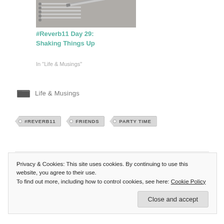[Figure (photo): A photo of a notebook with a pen resting on it, partially visible at the top of the page.]
#Reverb11 Day 29: Shaking Things Up
In "Life & Musings"
Life & Musings
#REVERB11   FRIENDS   PARTY TIME
Privacy & Cookies: This site uses cookies. By continuing to use this website, you agree to their use.
To find out more, including how to control cookies, see here: Cookie Policy
Close and accept